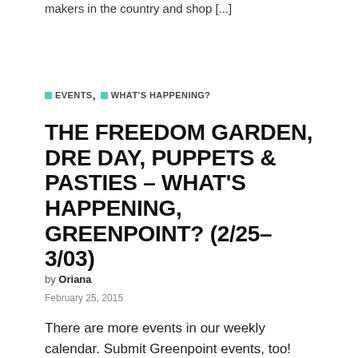makers in the country and shop [...]
EVENTS, WHAT'S HAPPENING?
THE FREEDOM GARDEN, DRE DAY, PUPPETS & PASTIES – WHAT'S HAPPENING, GREENPOINT? (2/25–3/03)
by Oriana
February 25, 2015
There are more events in our weekly calendar. Submit Greenpoint events, too! WEDNESDAY 2/25 * Bound By Chains in Ridgewood, Queens @ Houdini Kitchen Laboratory (1563 Decatur St) 6pm, $20,